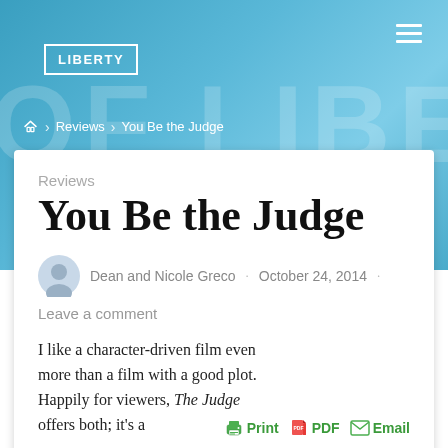LIBERTY
Home > Reviews > You Be the Judge
Reviews
You Be the Judge
Dean and Nicole Greco · October 24, 2014 · Leave a comment
I like a character-driven film even more than a film with a good plot. Happily for viewers, The Judge offers both; it's a
Print PDF Email